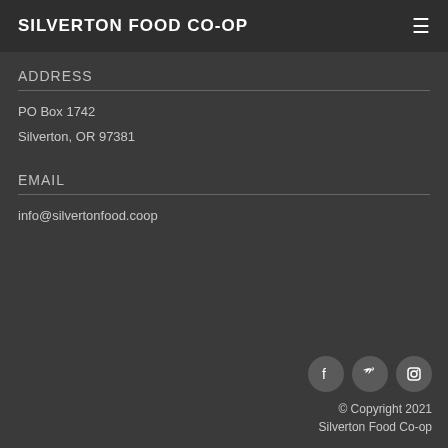SILVERTON FOOD CO-OP
ADDRESS
PO Box 1742
Silverton, OR 97381
EMAIL
info@silvertonfood.coop
[Figure (infographic): Social media icons: Facebook, Twitter, Instagram]
© Copyright 2021 Silverton Food Co-op